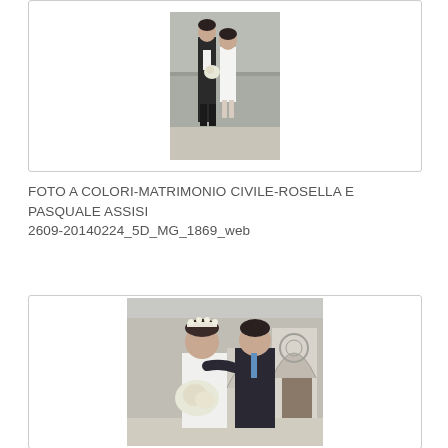[Figure (photo): Wedding photo: bride and groom walking together outdoors, groom in dark suit, bride in short white lace dress, stone wall background]
FOTO A COLORI-MATRIMONIO CIVILE-ROSELLA E PASQUALE ASSISI
2609-20140224_5D_MG_1869_web
[Figure (photo): Wedding photo: bride and groom portrait outdoors near stone church with arched doorway, bride wearing flower crown and holding bouquet, groom in dark suit with blue tie]